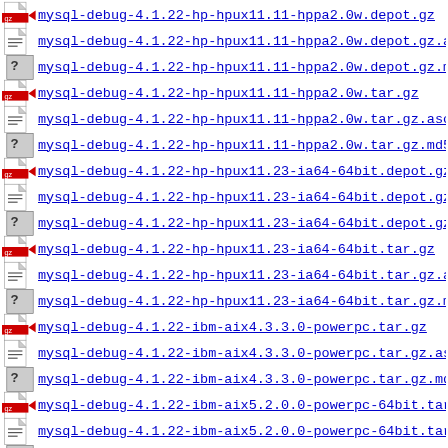mysql-debug-4.1.22-hp-hpux11.11-hppa2.0w.depot.gz
mysql-debug-4.1.22-hp-hpux11.11-hppa2.0w.depot.gz.asc
mysql-debug-4.1.22-hp-hpux11.11-hppa2.0w.depot.gz.md5
mysql-debug-4.1.22-hp-hpux11.11-hppa2.0w.tar.gz
mysql-debug-4.1.22-hp-hpux11.11-hppa2.0w.tar.gz.asc
mysql-debug-4.1.22-hp-hpux11.11-hppa2.0w.tar.gz.md5
mysql-debug-4.1.22-hp-hpux11.23-ia64-64bit.depot.gz
mysql-debug-4.1.22-hp-hpux11.23-ia64-64bit.depot.gz.a
mysql-debug-4.1.22-hp-hpux11.23-ia64-64bit.depot.gz.m
mysql-debug-4.1.22-hp-hpux11.23-ia64-64bit.tar.gz
mysql-debug-4.1.22-hp-hpux11.23-ia64-64bit.tar.gz.asc
mysql-debug-4.1.22-hp-hpux11.23-ia64-64bit.tar.gz.md5
mysql-debug-4.1.22-ibm-aix4.3.3.0-powerpc.tar.gz
mysql-debug-4.1.22-ibm-aix4.3.3.0-powerpc.tar.gz.asc
mysql-debug-4.1.22-ibm-aix4.3.3.0-powerpc.tar.gz.md5
mysql-debug-4.1.22-ibm-aix5.2.0.0-powerpc-64bit.tar.g
mysql-debug-4.1.22-ibm-aix5.2.0.0-powerpc-64bit.tar.g
mysql-debug-4.1.22-ibm-aix5.2.0.0-powerpc-64bit...